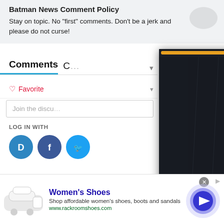Batman News Comment Policy
Stay on topic. No "first" comments. Don't be a jerk and please do not curse!
Comments
Favorite
Join the discu…
LOG IN WITH
[Figure (screenshot): Video overlay showing a dark cinematic scene with a figure kneeling in rain, a glowing light in background, with progress bars at top and navigation arrows/close button]
[Figure (infographic): Advertisement for Women's Shoes from Rack Room Shoes showing a sandal, title, description, URL and call-to-action button]